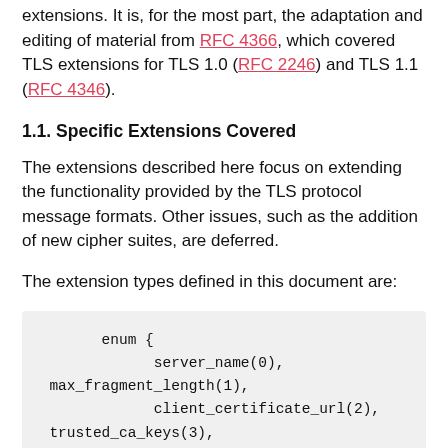extensions. It is, for the most part, the adaptation and editing of material from RFC 4366, which covered TLS extensions for TLS 1.0 (RFC 2246) and TLS 1.1 (RFC 4346).
1.1. Specific Extensions Covered
The extensions described here focus on extending the functionality provided by the TLS protocol message formats. Other issues, such as the addition of new cipher suites, are deferred.
The extension types defined in this document are: